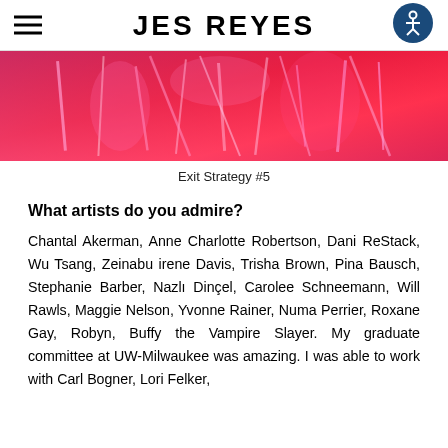JES REYES
[Figure (photo): A vivid red and pink abstract/artistic photograph, likely artwork titled 'Exit Strategy #5', featuring neon-lit forms and shapes on a red background.]
Exit Strategy #5
What artists do you admire?
Chantal Akerman, Anne Charlotte Robertson, Dani ReStack, Wu Tsang, Zeinabu irene Davis, Trisha Brown, Pina Bausch, Stephanie Barber, Nazlı Dinçel, Carolee Schneemann, Will Rawls, Maggie Nelson, Yvonne Rainer, Numa Perrier, Roxane Gay, Robyn, Buffy the Vampire Slayer. My graduate committee at UW-Milwaukee was amazing. I was able to work with Carl Bogner, Lori Felker,